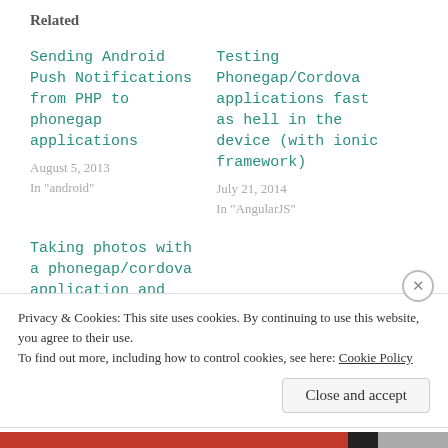Related
Sending Android Push Notifications from PHP to phonegap applications
August 5, 2013
In "android"
Testing Phonegap/Cordova applications fast as hell in the device (with ionic framework)
July 21, 2014
In "AngularJS"
Taking photos with a phonegap/cordova application and uploading them to the server.
October 28, 2013
Privacy & Cookies: This site uses cookies. By continuing to use this website, you agree to their use.
To find out more, including how to control cookies, see here: Cookie Policy
Close and accept